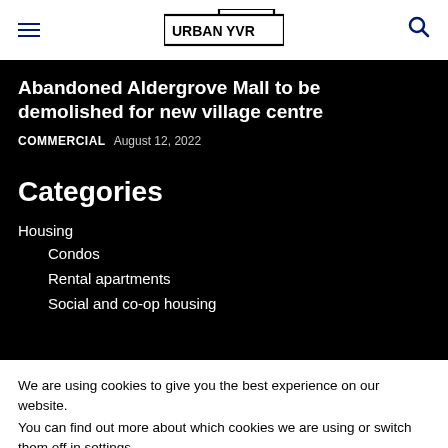URBAN YVR
Abandoned Aldergrove Mall to be demolished for new village centre
COMMERCIAL  August 12, 2022
Categories
Housing
Condos
Rental apartments
Social and co-op housing
We are using cookies to give you the best experience on our website.
You can find out more about which cookies we are using or switch them off in settings.
Accept